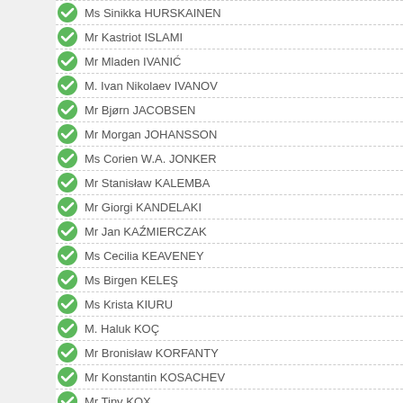Ms Sinikka HURSKAINEN
Mr Kastriot ISLAMI
Mr Mladen IVANIĆ
M. Ivan Nikolaev IVANOV
Mr Bjørn JACOBSEN
Mr Morgan JOHANSSON
Ms Corien W.A. JONKER
Mr Stanisław KALEMBA
Mr Giorgi KANDELAKI
Mr Jan KAŹMIERCZAK
Ms Cecilia KEAVENEY
Ms Birgen KELEŞ
Ms Krista KIURU
M. Haluk KOÇ
Mr Bronisław KORFANTY
Mr Konstantin KOSACHEV
Mr Tiny KOX